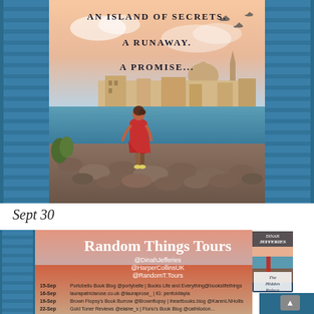[Figure (illustration): Book cover image showing a woman in a red dress standing on rocky shores looking toward a Mediterranean city (Malta/Valletta) with domed buildings and towers. Text overlaid reads: 'AN ISLAND OF SECRETS. A RUNAWAY. A PROMISE...' Blue shuttered windows frame the scene on both sides.]
Sept 30
[Figure (infographic): Random Things Tours banner with orange/pink gradient background. Text includes '@DinahJefferies @HarperCollinsUK @RandomT.Tours'. Book tour dates listed: 15-Sep Portobello Book Blog @portybelle | Books Life and Everything@bookslifethings; 16-Sep laurapatriciarose.co.uk @lauraprose_ | IG: penfoldlayla; 19-Sep Brown Flopsy's Book Burrow @Brownflopsy | iheartbooks.blog @KarenLNHollis. Book cover of 'The Hidden Palace' by Dinah Jefferies shown to the right.]